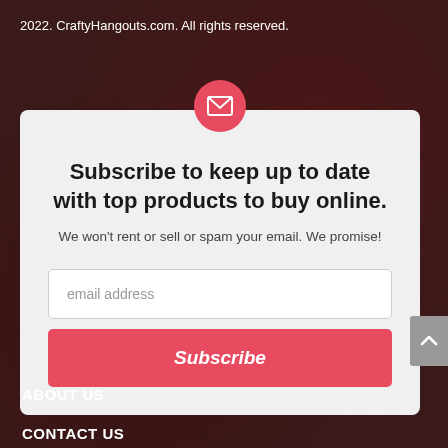2022. CraftyHangouts.com. All rights reserved.
[Figure (infographic): Red circular icon with white envelope/email symbol centered at top of subscription card]
Subscribe to keep up to date with top products to buy online.
We won't rent or sell or spam your email. We promise!
email address
Subscribe
ABOUT US
CONTACT US